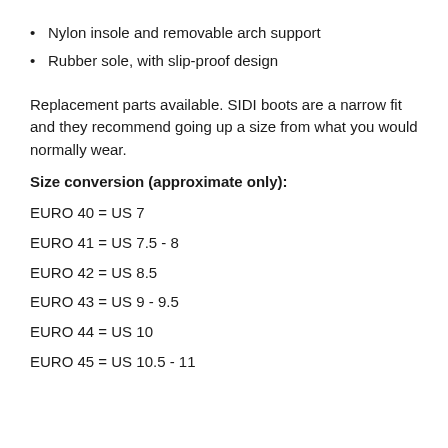Nylon insole and removable arch support
Rubber sole, with slip-proof design
Replacement parts available. SIDI boots are a narrow fit and they recommend going up a size from what you would normally wear.
Size conversion (approximate only):
EURO 40 = US 7
EURO 41 = US 7.5 - 8
EURO 42 = US 8.5
EURO 43 = US 9 - 9.5
EURO 44 = US 10
EURO 45 = US 10.5 - 11